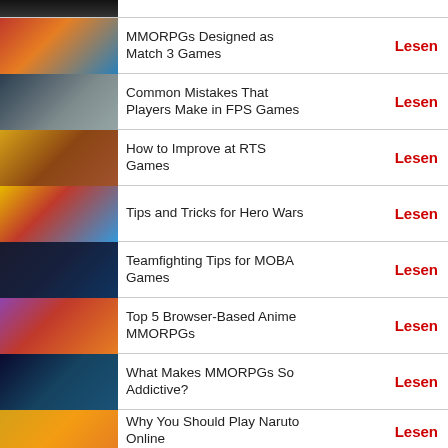(partial image row)
MMORPGs Designed as Match 3 Games — Lesen
Common Mistakes That Players Make in FPS Games — Lesen
How to Improve at RTS Games — Lesen
Tips and Tricks for Hero Wars — Lesen
Teamfighting Tips for MOBA Games — Lesen
Top 5 Browser-Based Anime MMORPGs — Lesen
What Makes MMORPGs So Addictive? — Lesen
Why You Should Play Naruto Online — Lesen